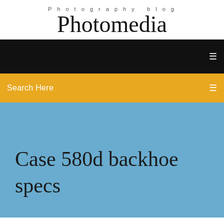Photography blog
Photomedia
[Figure (screenshot): Black navigation bar with white menu icon on right]
Search Here
Case 580d backhoe specs